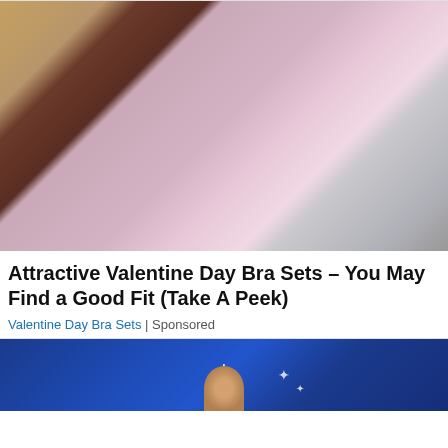[Figure (photo): Close-up photo of multiple bras hanging on a rack — beige/yellow on far left, dark maroon/wine, pink/dusty rose (center, most prominent with textured fabric detail), and gray on the right.]
Attractive Valentine Day Bra Sets – You May Find a Good Fit (Take A Peek)
Valentine Day Bra Sets | Sponsored
[Figure (photo): Bottom portion of a second advertisement card with a dark blue background, partially visible.]